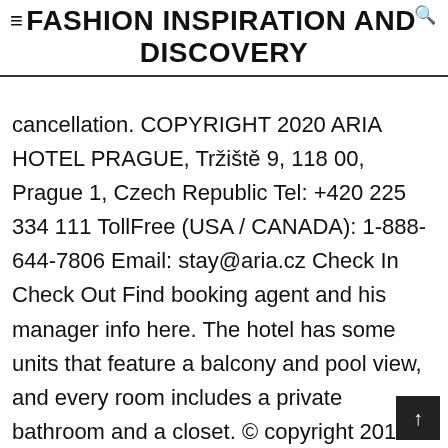≡FASHION INSPIRATION AND DISCOVERY
cancellation. COPYRIGHT 2020 ARIA HOTEL PRAGUE, Tržiště 9, 118 00, Prague 1, Czech Republic Tel: +420 225 334 111 TollFree (USA / CANADA): 1-888-644-7806 Email: stay@aria.cz Check In Check Out Find booking agent and his manager info here. The hotel has some units that feature a balcony and pool view, and every room includes a private bathroom and a closet. © copyright 2012 Hotel Ariana, paringao, bauang la union, philippines. Indulge your desires at ARIA Sky Suites, a luxurious AAA